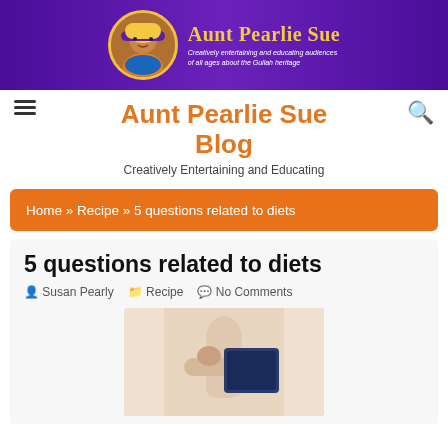[Figure (illustration): Aunt Pearlie Sue blog banner with purple background, circular avatar of a woman, and yellow text 'Aunt Pearlie Sue' with subtitle 'Creatively entertaining and educating audiences of all ages about the Gullah heritage']
Aunt Pearlie Sue Blog
Creatively Entertaining and Educating
Home » Recipe » 5 questions related to diets
5 questions related to diets
Susan Pearly   Recipe   No Comments
[Figure (photo): Photo of a slim person looking at a scale or book, partial body view showing torso and hands]